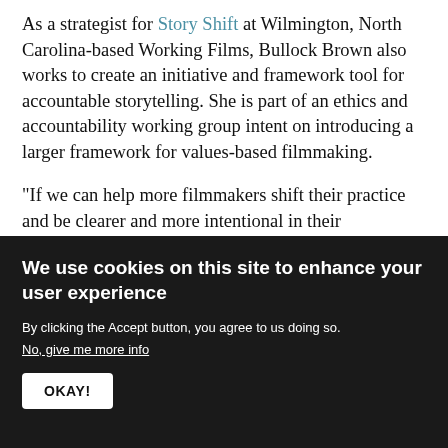As a strategist for Story Shift at Wilmington, North Carolina-based Working Films, Bullock Brown also works to create an initiative and framework tool for accountable storytelling. She is part of an ethics and accountability working group intent on introducing a larger framework for values-based filmmaking.

“If we can help more filmmakers shift their practice and be clearer and more intentional in their filmmaking practice, then hopefully all boats will rise and the field will have to operate to how all filmmakers are operating,” says Sonya Childress, who is working alongside Bullock Brown and others to develop this framework, and is a
We use cookies on this site to enhance your user experience

By clicking the Accept button, you agree to us doing so.
No, give me more info

OKAY!